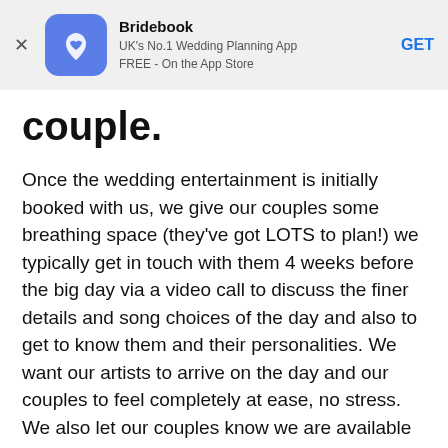[Figure (screenshot): Bridebook app banner ad with logo, app name, description, and GET button]
couple.
Once the wedding entertainment is initially booked with us, we give our couples some breathing space (they've got LOTS to plan!) we typically get in touch with them 4 weeks before the big day via a video call to discuss the finer details and song choices of the day and also to get to know them and their personalities. We want our artists to arrive on the day and our couples to feel completely at ease, no stress. We also let our couples know we are available at ANY time in the lead up to the wedding for any advice they might need.
What makes a romantic first dance?
In our opinion, the subtlest of changes can really create a